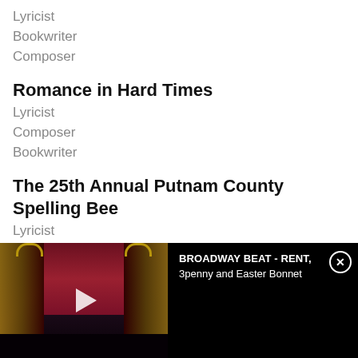Lyricist
Bookwriter
Composer
Romance in Hard Times
Lyricist
Composer
Bookwriter
The 25th Annual Putnam County Spelling Bee
Lyricist
[Figure (screenshot): Video banner at bottom showing a Broadway theater stage with red curtains and dark auditorium. Text reads 'BROADWAY BEAT - RENT, 3penny and Easter Bonnet' with a play button and close (X) button.]